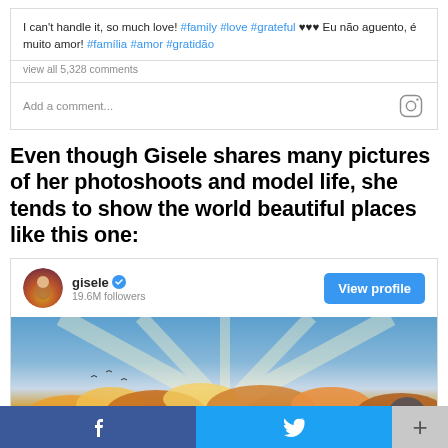I can't handle it, so much love! #family #love #grateful ♥♥♥ Eu não aguento, é muito amor! #família #amor #gratidão
view all 5,328 comments
Add a comment...
Even though Gisele shares many pictures of her photoshoots and model life, she tends to show the world beautiful places like this one:
[Figure (screenshot): Instagram embed card for user 'gisele' with 19.6M followers, a blue View profile button, and a sunset sky photo below]
[Figure (screenshot): Social share bar at bottom with Facebook, Twitter, and plus buttons]